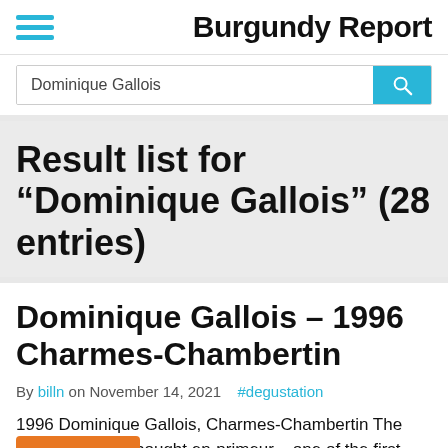Burgundy Report
Dominique Gallois
Result list for “Dominique Gallois” (28 entries)
Dominique Gallois – 1996 Charmes-Chambertin
By billn on November 14, 2021  #degustation
1996 Dominique Gallois, Charmes-Chambertin The first wine I ever bought en-primeur – one of the first was more than one wine bought in this